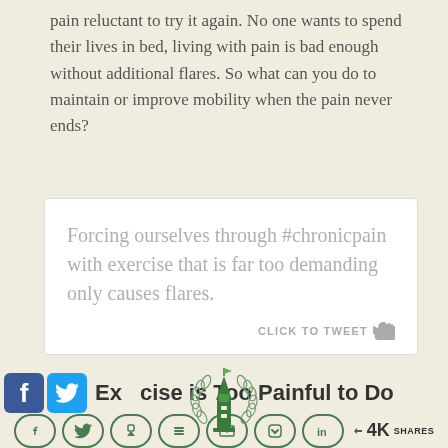pain reluctant to try it again. No one wants to spend their lives in bed, living with pain is bad enough without additional flares. So what can you do to maintain or improve mobility when the pain never ends?
[Figure (screenshot): Tweet quote box with light gray text reading: 'Forcing ourselves through #chronicpain with exercise that is far too demanding only causes flares.' with a 'CLICK TO TWEET' link and Twitter bird icon at the bottom right.]
[Figure (infographic): Social media share bar showing Facebook (blue) and Twitter (blue) icon buttons, a green lighthouse logo watermark overlay, section title 'Exercise is Too Painful to Do', and social sharing buttons (Facebook, Twitter, Pinterest/Share, Buffer, Email, Pocket, LinkedIn) with a share count of 4K SHARES.]